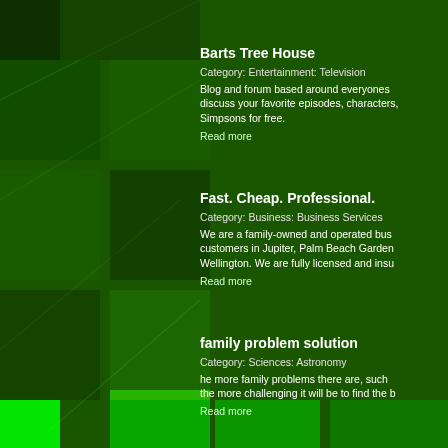Barts Tree House
Category: Entertainment: Television
Blog and forum based around everyones discuss your favorite episodes, characters, Simpsons for free.
Read more
Fast. Cheap. Professional.
Category: Business: Business Services
We are a family-owned and operated bus customers in Jupiter, Palm Beach Garden Wellington. We are fully licensed and insu
Read more
family problem solution
Category: Sciences: Astronomy
he more family problems there are, such the more challenging it will be to find the b
Read more